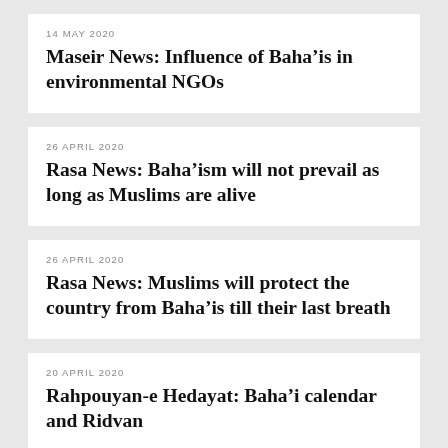14 MAY 2020
Maseir News: Influence of Baha’is in environmental NGOs
26 APRIL 2020
Rasa News: Baha’ism will not prevail as long as Muslims are alive
26 APRIL 2020
Rasa News: Muslims will protect the country from Baha’is till their last breath
20 APRIL 2020
Rahpouyan-e Hedayat: Baha’i calendar and Ridvan